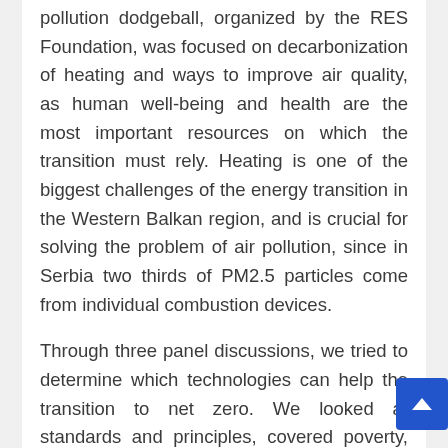pollution dodgeball, organized by the RES Foundation, was focused on decarbonization of heating and ways to improve air quality, as human well-being and health are the most important resources on which the transition must rely. Heating is one of the biggest challenges of the energy transition in the Western Balkan region, and is crucial for solving the problem of air pollution, since in Serbia two thirds of PM2.5 particles come from individual combustion devices.
Through three panel discussions, we tried to determine which technologies can help the transition to net zero. We looked at standards and principles, covered poverty, gender, social, regulatory, public health aspects, that are part of the puzzle when it comes to transition to net zero heating, and there was also talk of investment and